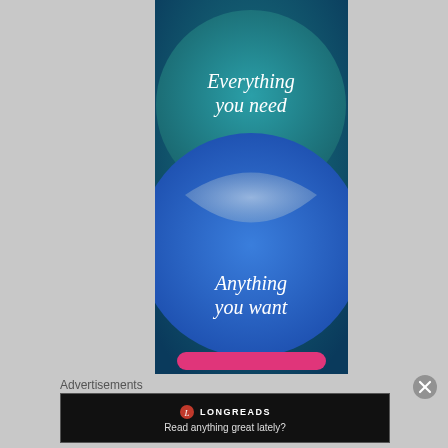[Figure (illustration): Advertisement image showing two overlapping circles — a teal/green circle on top with text 'Everything you need' and a blue circle below with text 'Anything you want', with a pink/magenta button at the bottom. The background is a dark teal-to-blue gradient.]
Advertisements
[Figure (logo): Longreads advertisement banner with red circular logo, 'LONGREADS' text, and tagline 'Read anything great lately?']